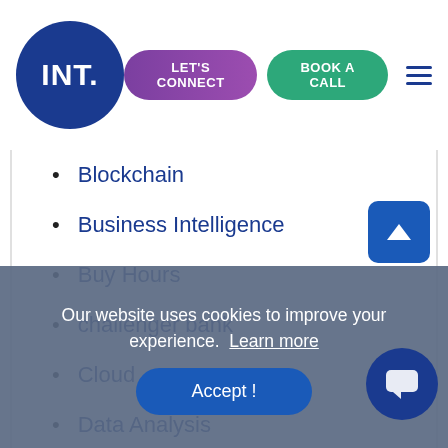INT. | LET'S CONNECT | BOOK A CALL
Blockchain
Business Intelligence
Buy Hours
challenger bank
Cloud
Data Analysis
Data Analytics
Data Ethics
Data Management
Dedica...
Our website uses cookies to improve your experience. Learn more